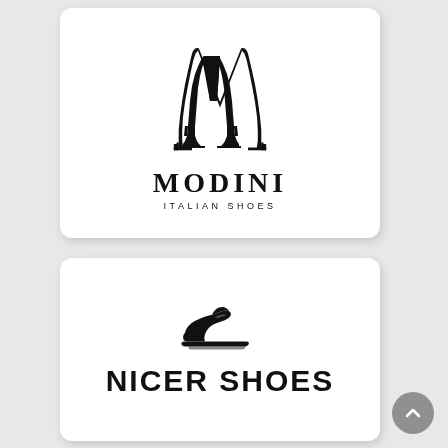[Figure (logo): Modini Italian Shoes logo: two high-heel shoes forming an M shape, with text MODINI in bold serif and ITALIAN SHOES in small caps below]
[Figure (logo): Nicer Shoes logo: black sneaker icon above bold text NICER SHOES]